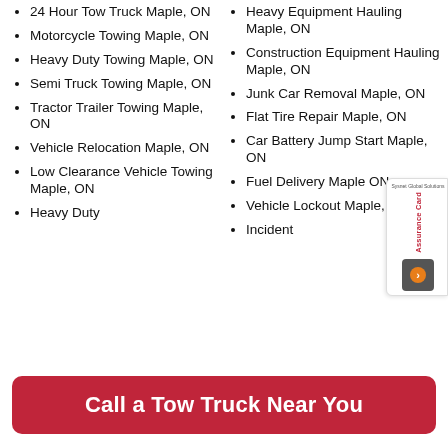24 Hour Tow Truck Maple, ON
Motorcycle Towing Maple, ON
Heavy Duty Towing Maple, ON
Semi Truck Towing Maple, ON
Tractor Trailer Towing Maple, ON
Vehicle Relocation Maple, ON
Low Clearance Vehicle Towing Maple, ON
Heavy Duty
Heavy Equipment Hauling Maple, ON
Construction Equipment Hauling Maple, ON
Junk Car Removal Maple, ON
Flat Tire Repair Maple, ON
Car Battery Jump Start Maple, ON
Fuel Delivery Maple ON
Vehicle Lockout Maple, ON
Incident
[Figure (other): Sysnet Global Solutions Assurance Card badge/widget with orange arrow button]
Call a Tow Truck Near You